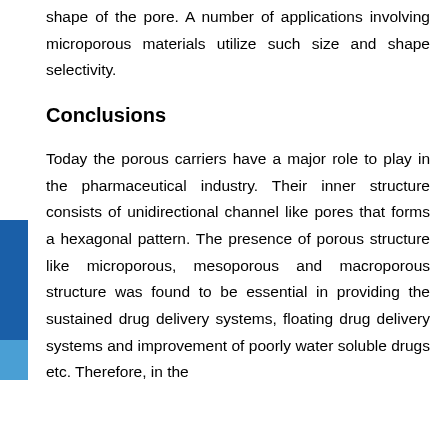shape of the pore. A number of applications involving microporous materials utilize such size and shape selectivity.
Conclusions
Today the porous carriers have a major role to play in the pharmaceutical industry. Their inner structure consists of unidirectional channel like pores that forms a hexagonal pattern. The presence of porous structure like microporous, mesoporous and macroporous structure was found to be essential in providing the sustained drug delivery systems, floating drug delivery systems and improvement of poorly water soluble drugs etc. Therefore, in the